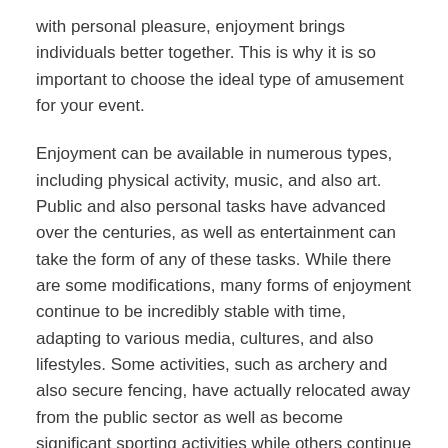with personal pleasure, enjoyment brings individuals better together. This is why it is so important to choose the ideal type of amusement for your event.
Enjoyment can be available in numerous types, including physical activity, music, and also art. Public and also personal tasks have advanced over the centuries, as well as entertainment can take the form of any of these tasks. While there are some modifications, many forms of enjoyment continue to be incredibly stable with time, adapting to various media, cultures, and also lifestyles. Some activities, such as archery and also secure fencing, have actually relocated away from the public sector as well as become significant sporting activities while others continue to be enjoyed for entertainment purposes.